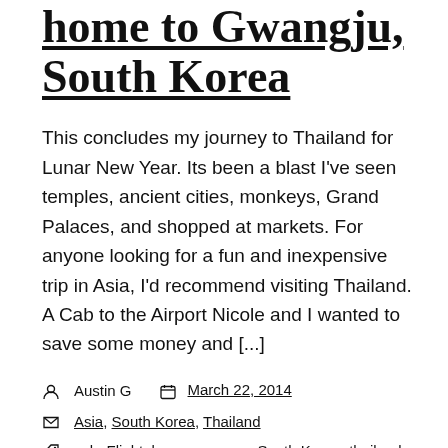home to Gwangju, South Korea
This concludes my journey to Thailand for Lunar New Year. Its been a blast I've seen temples, ancient cities, monkeys, Grand Palaces, and shopped at markets. For anyone looking for a fun and inexpensive trip in Asia, I'd recommend visiting Thailand. A Cab to the Airport Nicole and I wanted to save some money and [...]
Austin G   March 22, 2014
Asia, South Korea, Thailand
cab, Flight, lunar new year, South Korea, thailand, vacation